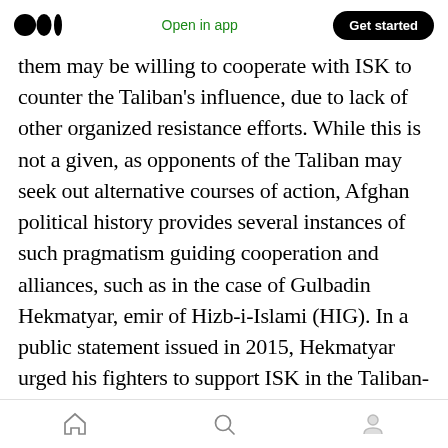Open in app | Get started
them may be willing to cooperate with ISK to counter the Taliban's influence, due to lack of other organized resistance efforts. While this is not a given, as opponents of the Taliban may seek out alternative courses of action, Afghan political history provides several instances of such pragmatism guiding cooperation and alliances, such as in the case of Gulbadin Hekmatyar, emir of Hizb-i-Islami (HIG). In a public statement issued in 2015, Hekmatyar urged his fighters to support ISK in the Taliban-ISK war, arguing that ISK had never transgressed against the HIG while the Taliban had oppressed
Home | Search | Profile